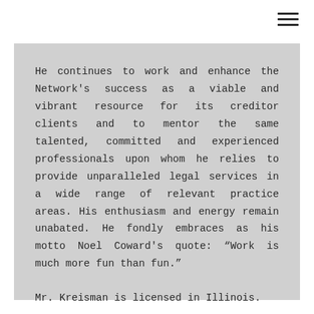[Figure (other): Hamburger menu icon (three horizontal lines) in the top-right corner]
He continues to work and enhance the Network's success as a viable and vibrant resource for its creditor clients and to mentor the same talented, committed and experienced professionals upon whom he relies to provide unparalleled legal services in a wide range of relevant practice areas. His enthusiasm and energy remain unabated. He fondly embraces as his motto Noel Coward's quote: “Work is much more fun than fun.”

Mr. Kreisman is licensed in Illinois.